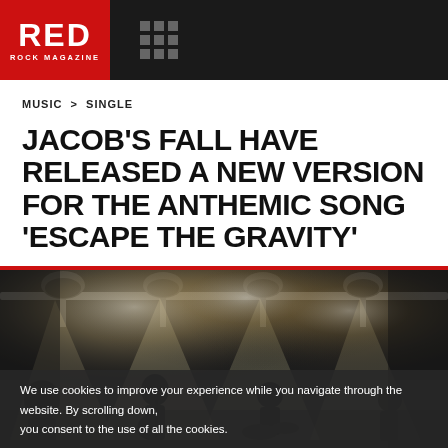RED ROCK MAGAZINE
MUSIC > SINGLE
JACOB'S FALL HAVE RELEASED A NEW VERSION FOR THE ANTHEMIC SONG 'ESCAPE THE GRAVITY'
[Figure (photo): Black and white concert photo showing a band performing on stage with bright stage lights and truss rigging overhead, silhouetted musicians visible]
We use cookies to improve your experience while you navigate through the website. By scrolling down, you consent to the use of all the cookies.